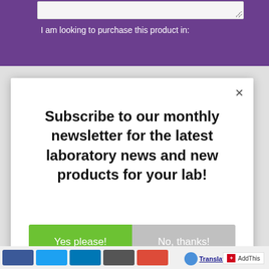[Figure (screenshot): Purple header bar with a text input box and text 'I am looking to purchase this product in:']
I am looking to purchase this product in:
[Figure (screenshot): Modal dialog popup with close X button, newsletter subscription message, and Yes please!/No, thanks! buttons]
Subscribe to our monthly newsletter for the latest laboratory news and new products for your lab!
Yes please!
No, thanks!
AddThis | Translate